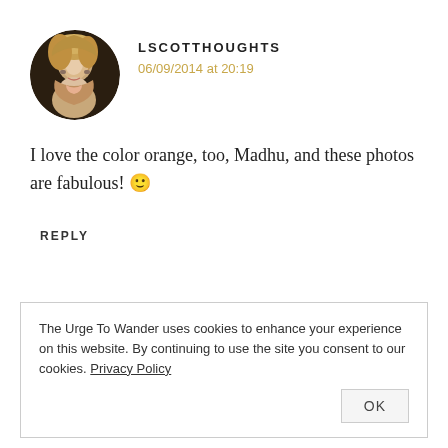[Figure (photo): Circular avatar photo of a blonde woman smiling, used as commenter profile picture]
LSCOTTHOUGHTS
06/09/2014 at 20:19
I love the color orange, too, Madhu, and these photos are fabulous! 🙂
REPLY
The Urge To Wander uses cookies to enhance your experience on this website. By continuing to use the site you consent to our cookies. Privacy Policy
OK